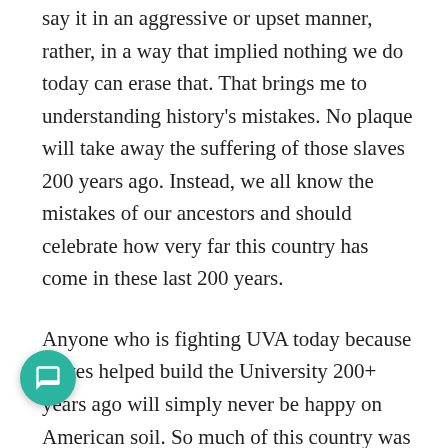say it in an aggressive or upset manner, rather, in a way that implied nothing we do today can erase that. That brings me to understanding history's mistakes. No plaque will take away the suffering of those slaves 200 years ago. Instead, we all know the mistakes of our ancestors and should celebrate how very far this country has come in these last 200 years.
Anyone who is fighting UVA today because slaves helped build the University 200+ years ago will simply never be happy on American soil. So much of this country was built by slaves, as were various other Western countries. Slavery is a stain on the history of this earth, but the stain is a permanent one. We can either acknowledge its historical evil and appreciate inclusion or make the stain bigger by continually aggravating it.